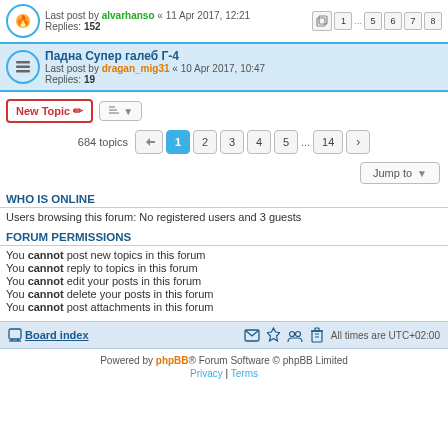Last post by alvarhanso « 11 Apr 2017, 12:21 Replies: 152 | 1 ... 5 6 7 8
Падна Супер галеб Г-4 Last post by dragan_mig31 « 10 Apr 2017, 10:47 Replies: 19
New Topic | Sort | 684 topics | 1 2 3 4 5 ... 14 >
Jump to
WHO IS ONLINE
Users browsing this forum: No registered users and 3 guests
FORUM PERMISSIONS
You cannot post new topics in this forum
You cannot reply to topics in this forum
You cannot edit your posts in this forum
You cannot delete your posts in this forum
You cannot post attachments in this forum
Board index | All times are UTC+02:00
Powered by phpBB® Forum Software © phpBB Limited
Privacy | Terms